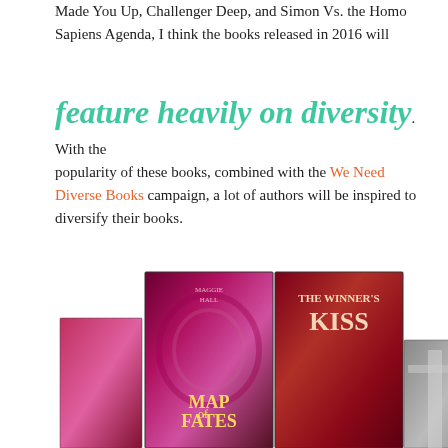Made You Up, Challenger Deep, and Simon Vs. the Homo Sapiens Agenda, I think the books released in 2016 will
feature heavily on diversity. With the popularity of these books, combined with the We Need Diverse Books campaign, a lot of authors will be inspired to diversify their books.
Books I'm Looking Forward To:
The Winner's Kiss by Marie Rutkoski
Map of Fates by Maggie Hall
[Figure (photo): Two book covers side by side: Map of Fates by Maggie Hall (left, dark pink/magenta cover with a woman on a staircase) and The Winner's Kiss (right, red cover with a woman in red dress holding a sword), with additional book spines visible on the sides.]